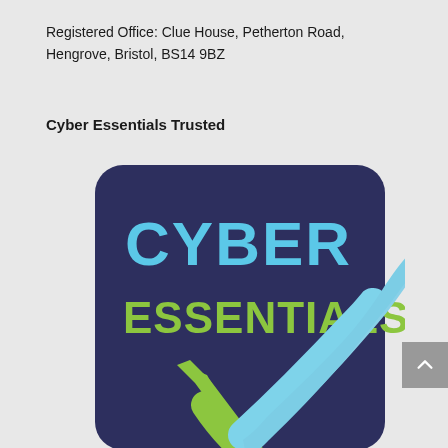Registered Office: Clue House, Petherton Road, Hengrove, Bristol, BS14 9BZ
Cyber Essentials Trusted
[Figure (logo): Cyber Essentials certification logo — dark navy rounded-rectangle badge with 'CYBER' in large blue text and 'ESSENTIALS' in large green text, with a two-tone checkmark (green and light blue) in the lower right portion of the badge.]